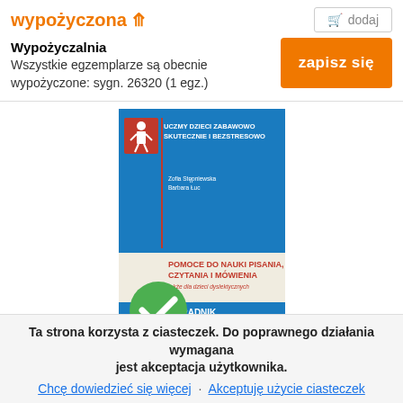wypożyczona ↑
dodaj
Wypożyczalnia
Wszystkie egzemplarze są obecnie wypożyczone: sygn. 26320 (1 egz.)
zapisz się
[Figure (photo): Book cover: blue cover with title 'POMOCE DO NAUKI PISANIA, CZYTANIA I MÓWIENIA także dla dzieci dyslektycznych – PORADNIK DO CZĘŚCI 1 I 2', series 'UCZMY DZIECI ZABAWOWO SKUTECZNIE I BEZSTRESOWO', with a green checkmark badge overlay]
Ta strona korzysta z ciasteczek. Do poprawnego działania wymagana jest akceptacja użytkownika.
Chcę dowiedzieć się więcej · Akceptuję użycie ciasteczek